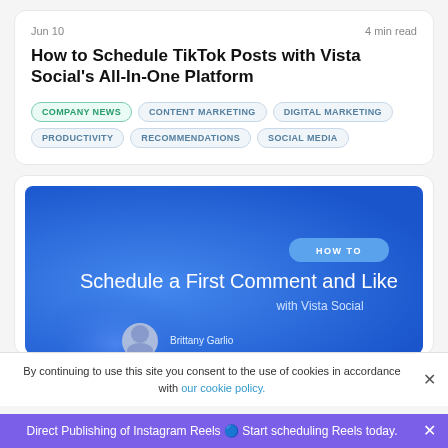Jun 10   4 min read
How to Schedule TikTok Posts with Vista Social's All-In-One Platform
COMPANY NEWS
CONTENT MARKETING
DIGITAL MARKETING
PRODUCTIVITY
RECOMMENDATIONS
SOCIAL MEDIA
[Figure (screenshot): Blue promotional banner for Vista Social showing 'HOW TO' badge and text 'Schedule a First Comment and Like with Vista Social' with a small circular avatar photo of Brittany Garlio]
By continuing to use this site you consent to the use of cookies in accordance with our cookie policy.
Direct Publishing of Instagram Reels 🔵 Start scheduling Reels today.